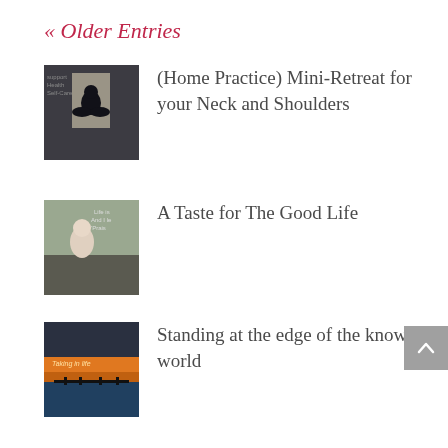« Older Entries
(Home Practice) Mini-Retreat for your Neck and Shoulders
A Taste for The Good Life
Standing at the edge of the known world